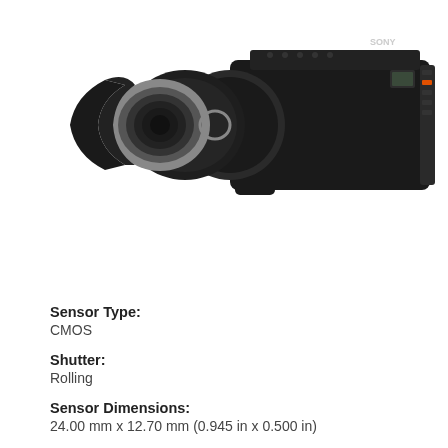[Figure (photo): Sony professional video camera (camcorder) with lens hood and large zoom lens, viewed from the front-left angle. Black body with silver lens elements.]
Sensor Type:
CMOS
Shutter:
Rolling
Sensor Dimensions:
24.00 mm x 12.70 mm (0.945 in x 0.500 in)
Image Resolution: